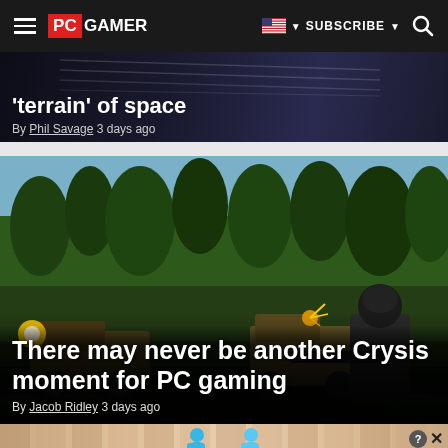PC GAMER | SUBSCRIBE | Search
'terrain' of space
By Phil Savage 3 days ago
[Figure (screenshot): Crysis game screenshot showing military combat in jungle environment with soldier and vehicles]
There may never be another Crysis moment for PC gaming
By Jacob Ridley 3 days ago
[Figure (screenshot): Hold and Move advertisement banner with blue cartoon figures]